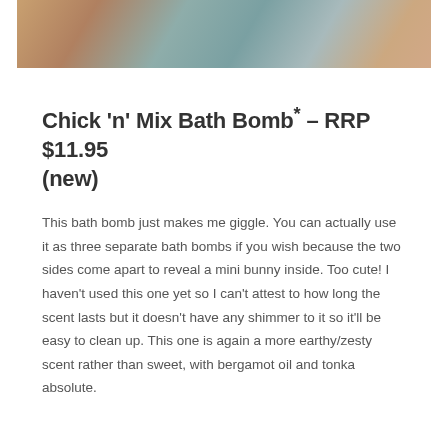[Figure (photo): Cropped bottom portion of a photo showing a blurred background with warm brown and cool grey-green tones]
Chick 'n' Mix Bath Bomb* – RRP $11.95 (new)
This bath bomb just makes me giggle. You can actually use it as three separate bath bombs if you wish because the two sides come apart to reveal a mini bunny inside. Too cute! I haven't used this one yet so I can't attest to how long the scent lasts but it doesn't have any shimmer to it so it'll be easy to clean up. This one is again a more earthy/zesty scent rather than sweet, with bergamot oil and tonka absolute.